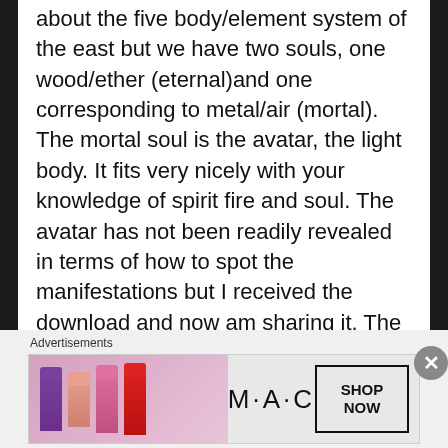about the five body/element system of the east but we have two souls, one wood/ether (eternal)and one corresponding to metal/air (mortal). The mortal soul is the avatar, the light body. It fits very nicely with your knowledge of spirit fire and soul. The avatar has not been readily revealed in terms of how to spot the manifestations but I received the download and now am sharing it. The reason I shared it here is because if you understand the science of avatars relating you also might see the very schematics for loosh generators in human society! I hope you didn't mind me
Advertisements
[Figure (photo): MAC cosmetics advertisement banner showing colorful lipsticks (purple, peach, pink, red) on the left, the MAC logo text in the center, and a 'SHOP NOW' box on the right]